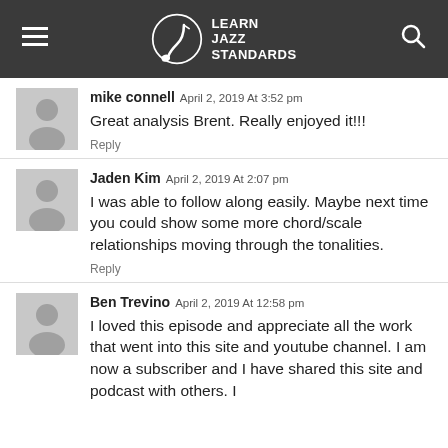Learn Jazz Standards
mike connell April 2, 2019 At 3:52 pm
Great analysis Brent. Really enjoyed it!!!
Reply
Jaden Kim April 2, 2019 At 2:07 pm
I was able to follow along easily. Maybe next time you could show some more chord/scale relationships moving through the tonalities.
Reply
Ben Trevino April 2, 2019 At 12:58 pm
I loved this episode and appreciate all the work that went into this site and youtube channel. I am now a subscriber and I have shared this site and podcast with others. I